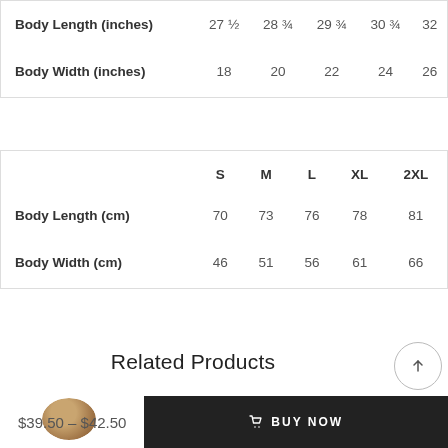|  | 27 ½ | 28 ¾ | 29 ¾ | 30 ¾ | 32 |
| --- | --- | --- | --- | --- | --- |
| Body Length (inches) | 27 ½ | 28 ¾ | 29 ¾ | 30 ¾ | 32 |
| Body Width (inches) | 18 | 20 | 22 | 24 | 26 |
|  | S | M | L | XL | 2XL |
| --- | --- | --- | --- | --- | --- |
| Body Length (cm) | 70 | 73 | 76 | 78 | 81 |
| Body Width (cm) | 46 | 51 | 56 | 61 | 66 |
Related Products
$39.50 – $42.50
BUY NOW